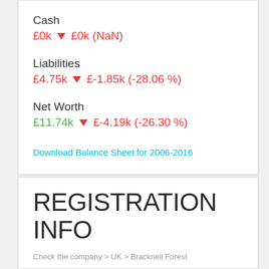Cash
£0k ▼ £0k (NaN)
Liabilities
£4.75k ▼ £-1.85k (-28.06 %)
Net Worth
£11.74k ▼ £-4.19k (-26.30 %)
Download Balance Sheet for 2006-2016
REGISTRATION INFO
Check the company > UK > Bracknell Forest
Company name   A & M SYSTEMS LIMITED